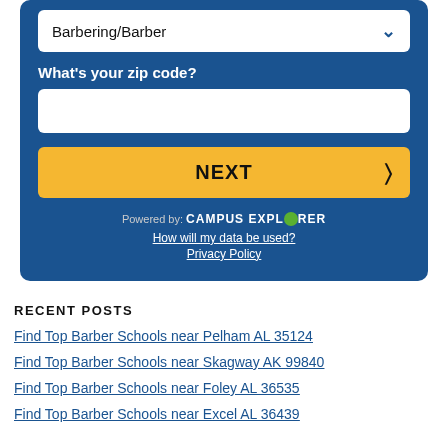[Figure (screenshot): Blue form widget with dropdown showing Barbering/Barber, zip code input field, NEXT button, Campus Explorer branding, and links]
RECENT POSTS
Find Top Barber Schools near Pelham AL 35124
Find Top Barber Schools near Skagway AK 99840
Find Top Barber Schools near Foley AL 36535
Find Top Barber Schools near Excel AL 36439